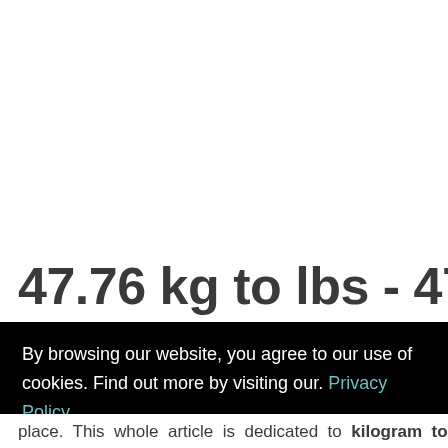47.76 kg to lbs - 47.76
By browsing our website, you agree to our use of cookies. Find out more by visiting our. Privacy Policy here. Accept
place. This whole article is dedicated to kilogram to